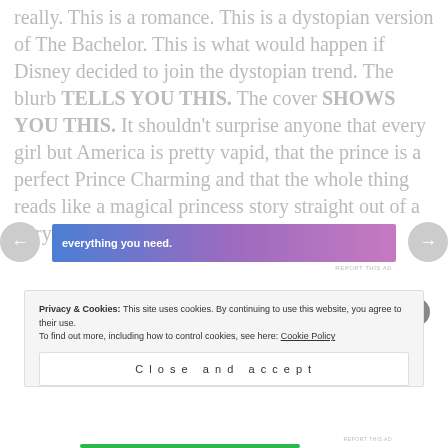really. This is a romance. This is a dystopian version of The Bachelor. This is what would happen if Disney decided to join the dystopian trend. The blurb TELLS YOU THIS. The cover SHOWS YOU THIS. It shouldn't surprise anyone that every girl but America is pretty vapid, that the prince is a perfect Prince Charming and that the whole thing reads like a magical princess story straight out of a fairytale.
[Figure (other): Advertisement banner with gradient background (blue to purple/pink) with text 'everything you need.' and navigation arrows on left and right sides]
Privacy & Cookies: This site uses cookies. By continuing to use this website, you agree to their use. To find out more, including how to control cookies, see here: Cookie Policy
Close and accept